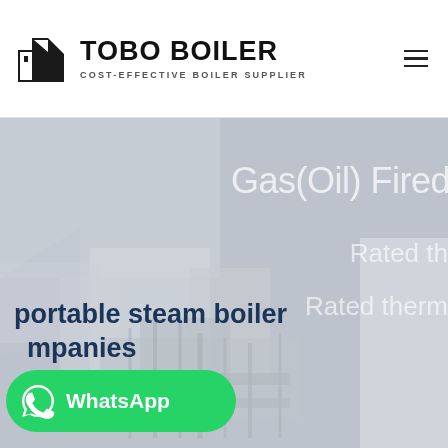[Figure (logo): Tobo Boiler logo with black geometric icon and bold text 'TOBO BOILER' with subtitle 'COST-EFFECTIVE BOILER SUPPLIER']
[Figure (photo): Hero banner showing industrial boiler equipment in muted grey-blue tones with overlay text. Shows 'Gas(Oil) Fired', 'Rated th...', 'Rated therm...' in light grey text on right side, and 'portable steam boiler companies' in dark navy bold text at bottom left. WhatsApp button overlay at bottom left.]